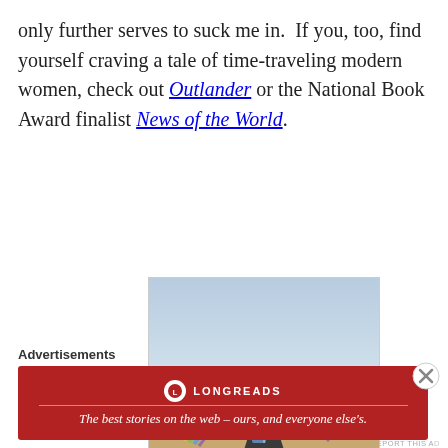only further serves to suck me in.  If you, too, find yourself craving a tale of time-traveling modern women, check out Outlander or the National Book Award finalist News of the World.
[Figure (illustration): Book cover of 'Textbook Amy Krouse Rosenthal' showing a rainbow over a highway, with text bubbles style layout and subtitle 'by the author of Encyclopedia of an Ordinary Life' and 'not exactly a memoir']
Advertisements
[Figure (other): Longreads advertisement banner in dark red with logo and tagline: The best stories on the web – ours, and everyone else's.]